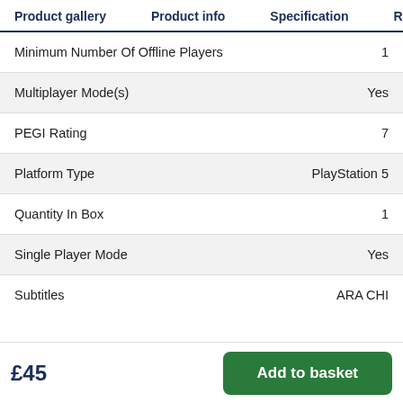Product gallery   Product info   Specification   Reviews
| Specification | Value |
| --- | --- |
| Minimum Number Of Offline Players | 1 |
| Multiplayer Mode(s) | Yes |
| PEGI Rating | 7 |
| Platform Type | PlayStation 5 |
| Quantity In Box | 1 |
| Single Player Mode | Yes |
| Subtitles | ARA CHI |
£45
Add to basket